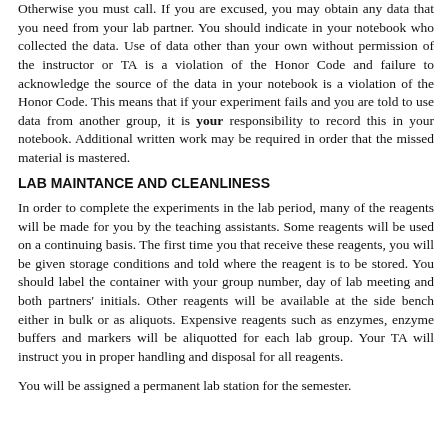Otherwise you must call. If you are excused, you may obtain any data that you need from your lab partner. You should indicate in your notebook who collected the data. Use of data other than your own without permission of the instructor or TA is a violation of the Honor Code and failure to acknowledge the source of the data in your notebook is a violation of the Honor Code. This means that if your experiment fails and you are told to use data from another group, it is your responsibility to record this in your notebook. Additional written work may be required in order that the missed material is mastered.
LAB MAINTANCE AND CLEANLINESS
In order to complete the experiments in the lab period, many of the reagents will be made for you by the teaching assistants. Some reagents will be used on a continuing basis. The first time you that receive these reagents, you will be given storage conditions and told where the reagent is to be stored. You should label the container with your group number, day of lab meeting and both partners' initials. Other reagents will be available at the side bench either in bulk or as aliquots. Expensive reagents such as enzymes, enzyme buffers and markers will be aliquotted for each lab group. Your TA will instruct you in proper handling and disposal for all reagents.
You will be assigned a permanent lab station for the semester.